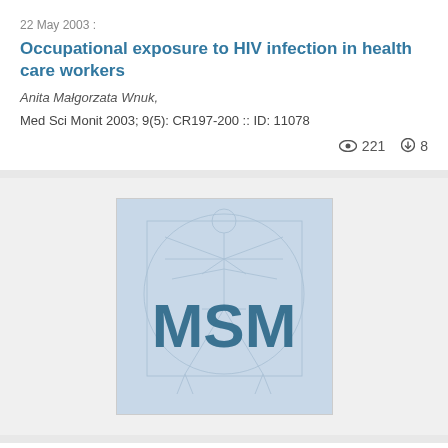22 May 2003 :
Occupational exposure to HIV infection in health care workers
Anita Małgorzata Wnuk,
Med Sci Monit 2003; 9(5): CR197-200 :: ID: 11078
221 views   8 downloads
[Figure (logo): MSM journal logo showing Vitruvian Man sketch in light blue tones with large 'MSM' text overlay in dark teal/blue]
22 May 2003 :